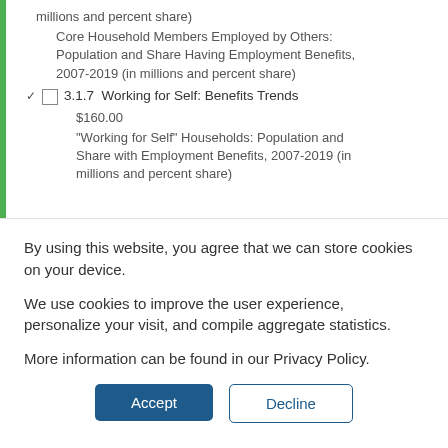millions and percent share)
Core Household Members Employed by Others: Population and Share Having Employment Benefits, 2007-2019 (in millions and percent share)
3.1.7  Working for Self: Benefits Trends
$160.00
"Working for Self" Households: Population and Share with Employment Benefits, 2007-2019 (in millions and percent share)
By using this website, you agree that we can store cookies on your device.

We use cookies to improve the user experience, personalize your visit, and compile aggregate statistics.

More information can be found in our Privacy Policy.
Accept   Decline